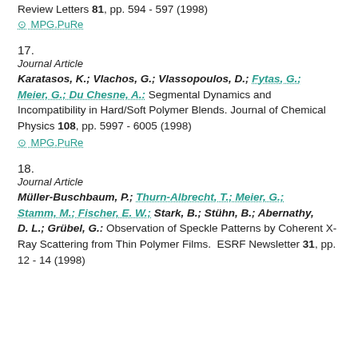Review Letters 81, pp. 594 - 597 (1998)
⊙ MPG.PuRe
17.
Journal Article
Karatasos, K.; Vlachos, G.; Vlassopoulos, D.; Fytas, G.; Meier, G.; Du Chesne, A.: Segmental Dynamics and Incompatibility in Hard/Soft Polymer Blends. Journal of Chemical Physics 108, pp. 5997 - 6005 (1998)
⊙ MPG.PuRe
18.
Journal Article
Müller-Buschbaum, P.; Thurn-Albrecht, T.; Meier, G.; Stamm, M.; Fischer, E. W.; Stark, B.; Stühn, B.; Abernathy, D. L.; Grübel, G.: Observation of Speckle Patterns by Coherent X-Ray Scattering from Thin Polymer Films. ESRF Newsletter 31, pp. 12 - 14 (1998)